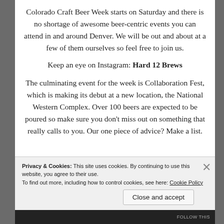Colorado Craft Beer Week starts on Saturday and there is no shortage of awesome beer-centric events you can attend in and around Denver. We will be out and about at a few of them ourselves so feel free to join us.
Keep an eye on Instagram: Hard 12 Brews
The culminating event for the week is Collaboration Fest, which is making its debut at a new location, the National Western Complex. Over 100 beers are expected to be poured so make sure you don't miss out on something that really calls to you. Our one piece of advice? Make a list.
Privacy & Cookies: This site uses cookies. By continuing to use this website, you agree to their use. To find out more, including how to control cookies, see here: Cookie Policy